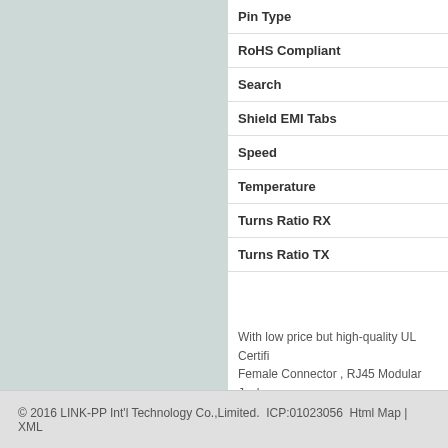| Pin Type |
| RoHS Compliant |
| Search |
| Shield EMI Tabs |
| Speed |
| Temperature |
| Turns Ratio RX |
| Turns Ratio TX |
With low price but high-quality UL Certifi... Female Connector , RJ45 Modular Jack... LPJ41014AWNL manufacturers.
© 2016 LINK-PP Int'l Technology Co.,Limited.  ICP:01023056  Html Map | XML